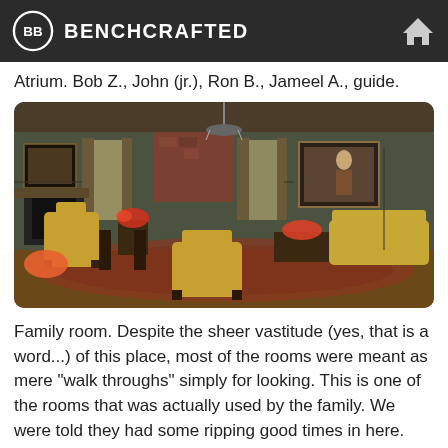BENCHCRAFTED
Atrium. Bob Z., John (jr.), Ron B., Jameel A., guide.
[Figure (photo): Interior photo of a formal family room with yellow upholstered wing chairs, dark wood furniture, oriental rugs, floral arrangements, paneled walls, tall windows with drapes, a chandelier, a fireplace, and framed oil paintings on the walls.]
Family room. Despite the sheer vastitude (yes, that is a word...) of this place, most of the rooms were meant as mere "walk throughs" simply for looking. This is one of the rooms that was actually used by the family. We were told they had some ripping good times in here. Certainly looks warm, cozy and inviting...not